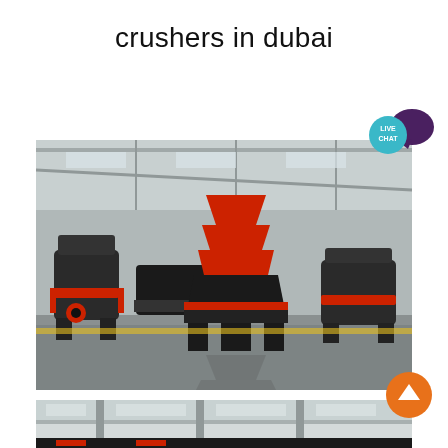crushers in dubai
[Figure (photo): Industrial cone crushers displayed on a factory floor. Multiple large black and red cone crusher machines of varying sizes arranged in a warehouse/manufacturing facility with steel truss roof structure and reflective concrete floor.]
[Figure (photo): Partial view of another industrial facility with crusher or heavy machinery equipment, showing interior of a building with light roof panels.]